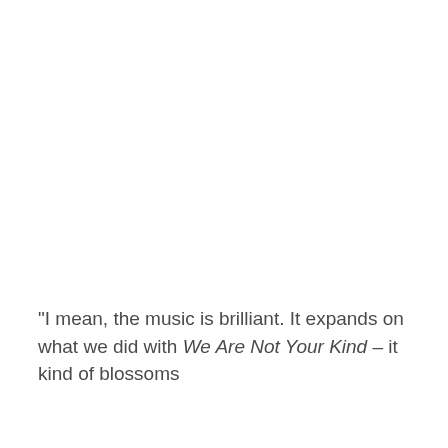"I mean, the music is brilliant. It expands on what we did with We Are Not Your Kind – it kind of blossoms